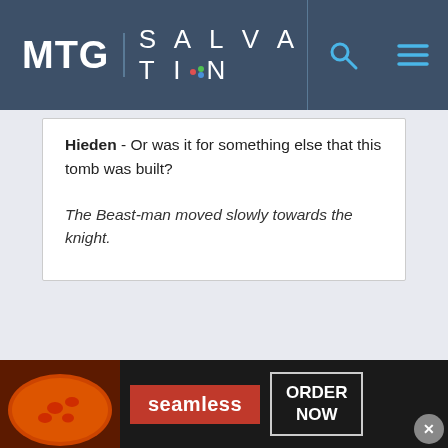MTG SALVATION
Hieden - Or was it for something else that this tomb was built?
The Beast-man moved slowly towards the knight.
[Figure (screenshot): Advertisement banner for Seamless food ordering service showing pizza image, Seamless logo in red, and ORDER NOW button]